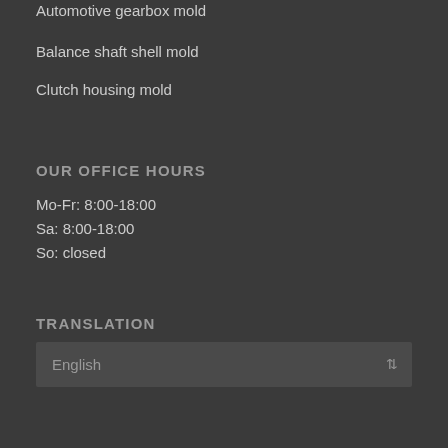Automotive gearbox mold
Balance shaft shell mold
Clutch housing mold
OUR OFFICE HOURS
Mo-Fr: 8:00-18:00
Sa: 8:00-18:00
So: closed
TRANSLATION
English